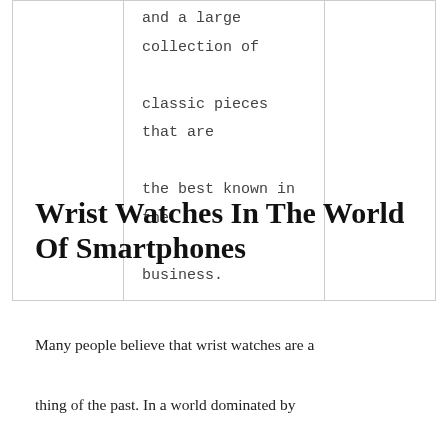|  | and a large collection of classic pieces that are the best known in the business. |  |
Wrist Watches In The World Of Smartphones
Many people believe that wrist watches are a thing of the past. In a world dominated by modern technology, in particular smartphones, having a timepiece isn't nearly as critical as it